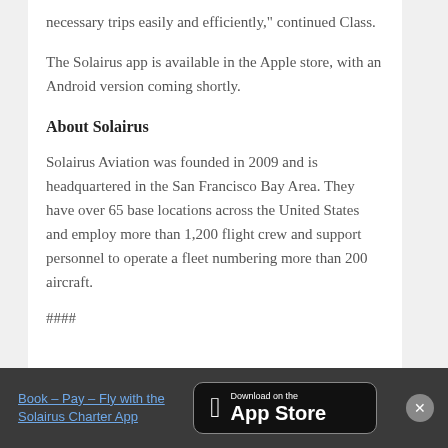necessary trips easily and efficiently," continued Class.
The Solairus app is available in the Apple store, with an Android version coming shortly.
About Solairus
Solairus Aviation was founded in 2009 and is headquartered in the San Francisco Bay Area. They have over 65 base locations across the United States and employ more than 1,200 flight crew and support personnel to operate a fleet numbering more than 200 aircraft.
####
Book – Pay – Fly with the Solairus Charter App | Download on the App Store